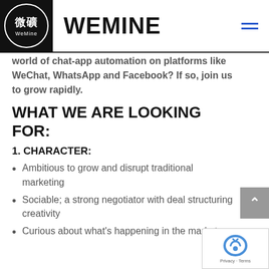[Figure (logo): WeMine logo: black circle with Chinese characters 微礦 and text WeMine below, on black background square]
WEMINE
world of chat-app automation on platforms like WeChat, WhatsApp and Facebook? If so, join us to grow rapidly.
WHAT WE ARE LOOKING FOR:
1. CHARACTER:
Ambitious to grow and disrupt traditional marketing
Sociable; a strong negotiator with deal structuring creativity
Curious about what's happening in the market